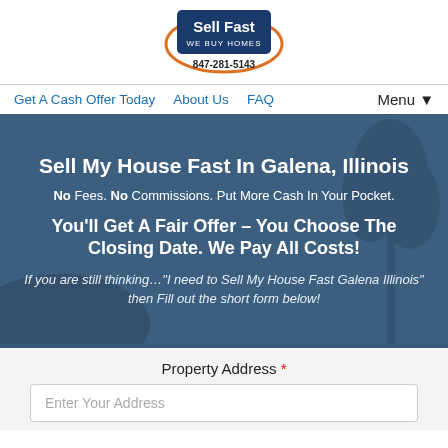[Figure (logo): Sell Fast We Buy Homes logo badge with orange ring and phone number 847-281-5143]
Get A Cash Offer Today   About Us   FAQ   Menu
Sell My House Fast In Galena, Illinois
No Fees. No Commissions. Put More Cash In Your Pocket.
You'll Get A Fair Offer – You Choose The Closing Date. We Pay All Costs!
If you are still thinking…"I need to Sell My House Fast Galena Illinois" then Fill out the short form below!
Property Address *
Enter Your Address